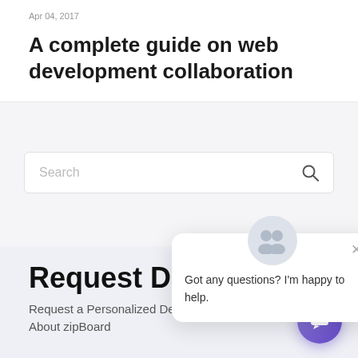Apr 04, 2017
A complete guide on web development collaboration
[Figure (screenshot): Search bar with placeholder text 'Search' and a magnifying glass icon on the right]
[Figure (infographic): Chat popup widget with two person avatars, a close X button, and the text 'Got any questions? I'm happy to help.']
Request Demo
Request a Personalized Demo To Know More About zipBoard
[Figure (illustration): Purple circular chat button with a speech bubble icon]